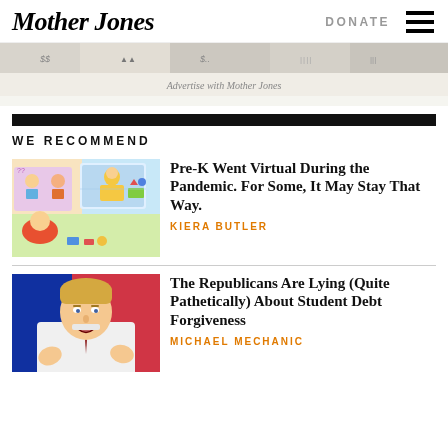Mother Jones | DONATE
[Figure (illustration): Advertisement banner strip with illustrated money/finance imagery for Mother Jones]
Advertise with Mother Jones
WE RECOMMEND
[Figure (illustration): Illustration of children doing remote/virtual learning with video screens and colorful characters]
Pre-K Went Virtual During the Pandemic. For Some, It May Stay That Way.
KIERA BUTLER
[Figure (photo): Photo of a man with blonde hair in a white dress shirt and dark tie speaking at a podium against a red and blue background]
The Republicans Are Lying (Quite Pathetically) About Student Debt Forgiveness
MICHAEL MECHANIC